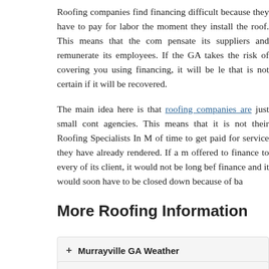Roofing companies find financing difficult because they have to pay for labor the moment they install the roof. This means that the company has to compensate its suppliers and remunerate its employees. If the roofing GA takes the risk of covering you using financing, it will be lending money that is not certain if it will be recovered.
The main idea here is that roofing companies are just small contracting agencies. This means that it is not their Roofing Specialists In M... of time to get paid for service they have already rendered. If a roofing ... offered to finance to every of its client, it would not be long before ... finance and it would soon have to be closed down because of ba...
More Roofing Information
+ Murrayville GA Weather